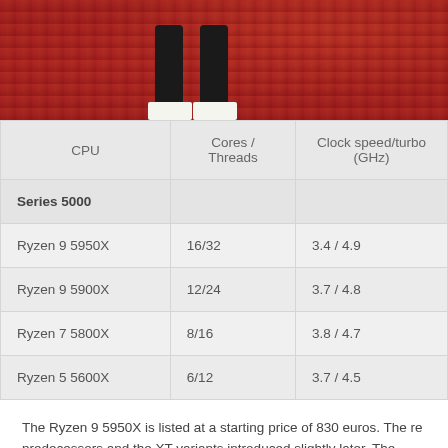[Figure (photo): Partial photo showing a person's legs and feet against a red background, likely an AMD product launch event stage]
| CPU | Cores / Threads | Clock speed/turbo (GHz) |
| --- | --- | --- |
| Series 5000 |  |  |
| Ryzen 9 5950X | 16/32 | 3.4 / 4.9 |
| Ryzen 9 5900X | 12/24 | 3.7 / 4.8 |
| Ryzen 7 5800X | 8/16 | 3.8 / 4.7 |
| Ryzen 5 5600X | 6/12 | 3.7 / 4.5 |
The Ryzen 9 5950X is listed at a starting price of 830 euros. The re predecessors and the XT variants introduced slightly later. The 5600